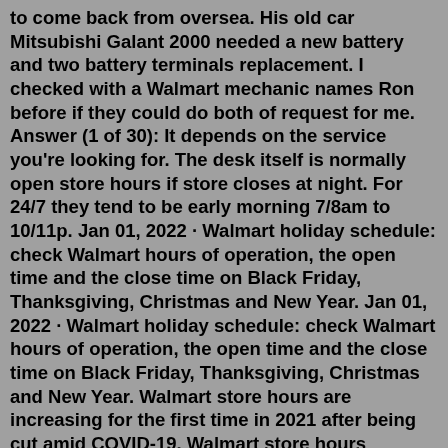to come back from oversea. His old car Mitsubishi Galant 2000 needed a new battery and two battery terminals replacement. I checked with a Walmart mechanic names Ron before if they could do both of request for me. Answer (1 of 30): It depends on the service you're looking for. The desk itself is normally open store hours if store closes at night. For 24/7 they tend to be early morning 7/8am to 10/11p. Jan 01, 2022 · Walmart holiday schedule: check Walmart hours of operation, the open time and the close time on Black Friday, Thanksgiving, Christmas and New Year. Jan 01, 2022 · Walmart holiday schedule: check Walmart hours of operation, the open time and the close time on Black Friday, Thanksgiving, Christmas and New Year. Walmart store hours are increasing for the first time in 2021 after being cut amid COVID-19. Walmart store hours expanding. Starting Saturday, most stores will be open from 6 a.m. to 11 p.m. unless otherwise mandated by state or local government, Smith said.Walmart store hours are increasing for the first time in 2021 after being cut amid COVID-19.